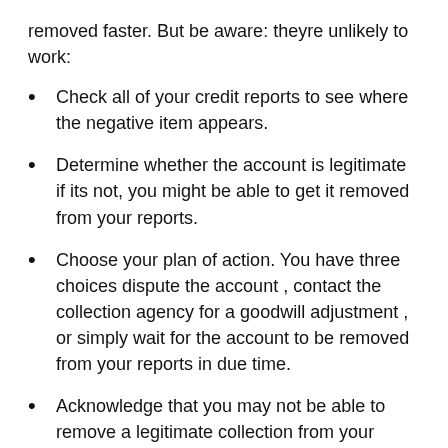removed faster. But be aware: theyre unlikely to work:
Check all of your credit reports to see where the negative item appears.
Determine whether the account is legitimate if its not, you might be able to get it removed from your reports.
Choose your plan of action. You have three choices dispute the account , contact the collection agency for a goodwill adjustment , or simply wait for the account to be removed from your reports in due time.
Acknowledge that you may not be able to remove a legitimate collection from your credit reports.
You May Like:  Does Child Support Help Credit Score
Do Different Types Of Debts Like